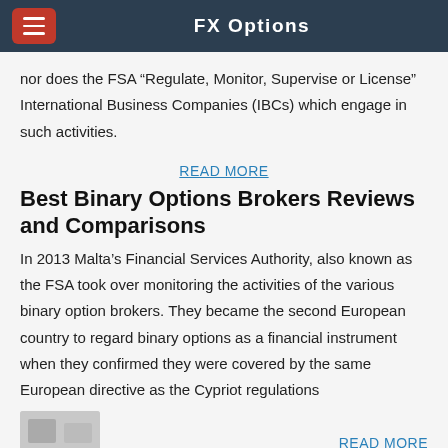FX Options
nor does the FSA “Regulate, Monitor, Supervise or License” International Business Companies (IBCs) which engage in such activities.
READ MORE
Best Binary Options Brokers Reviews and Comparisons
In 2013 Malta’s Financial Services Authority, also known as the FSA took over monitoring the activities of the various binary option brokers. They became the second European country to regard binary options as a financial instrument when they confirmed they were covered by the same European directive as the Cypriot regulations
READ MORE